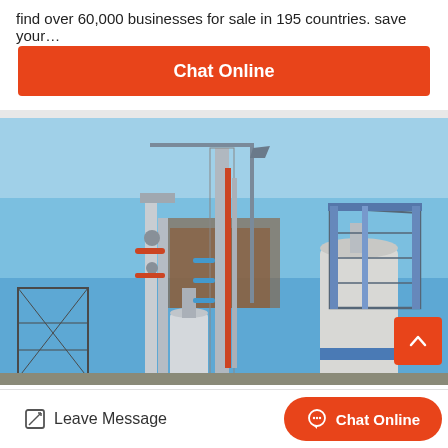find over 60,000 businesses for sale in 195 countries. save your…
[Figure (other): Orange 'Chat Online' button]
[Figure (photo): Industrial facility with tall towers, silos, steel structures, and blue sky background]
[Figure (other): Orange scroll-to-top arrow button in lower-right corner of photo]
[Figure (other): Bottom bar with 'Leave Message' icon+text on left and orange 'Chat Online' pill button on right]